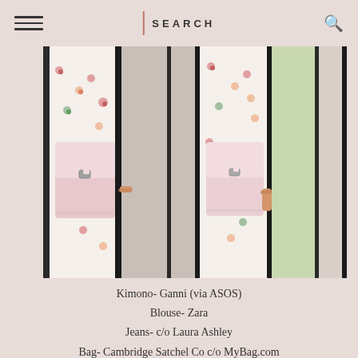SEARCH
[Figure (photo): Two side-by-side fashion photos showing a person wearing a floral kimono/blouse with jeans and carrying a pink Cambridge Satchel backpack, photographed near a metal gate/fence.]
Kimono- Ganni (via ASOS)
Blouse- Zara
Jeans- c/o Laura Ashley
Bag- Cambridge Satchel Co c/o MyBag.com
Sunglasses- Vintage
Shoes- Birkenstock